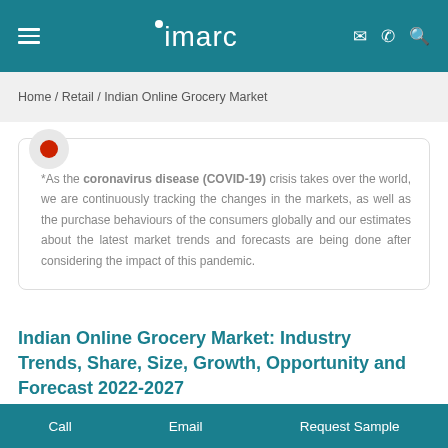imarc
Home / Retail / Indian Online Grocery Market
*As the coronavirus disease (COVID-19) crisis takes over the world, we are continuously tracking the changes in the markets, as well as the purchase behaviours of the consumers globally and our estimates about the latest market trends and forecasts are being done after considering the impact of this pandemic.
Indian Online Grocery Market: Industry Trends, Share, Size, Growth, Opportunity and Forecast 2022-2027
Call   Email   Request Sample